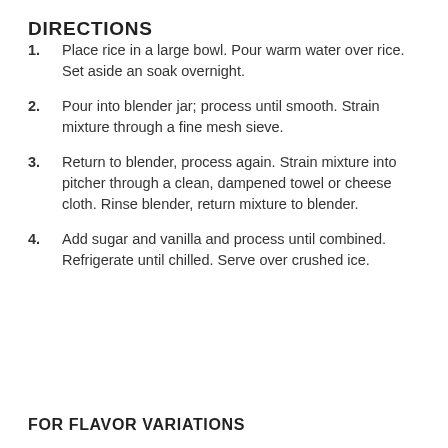DIRECTIONS
1. Place rice in a large bowl. Pour warm water over rice. Set aside an soak overnight.
2. Pour into blender jar; process until smooth. Strain mixture through a fine mesh sieve.
3. Return to blender, process again. Strain mixture into pitcher through a clean, dampened towel or cheese cloth. Rinse blender, return mixture to blender.
4. Add sugar and vanilla and process until combined. Refrigerate until chilled. Serve over crushed ice.
FOR FLAVOR VARIATIONS